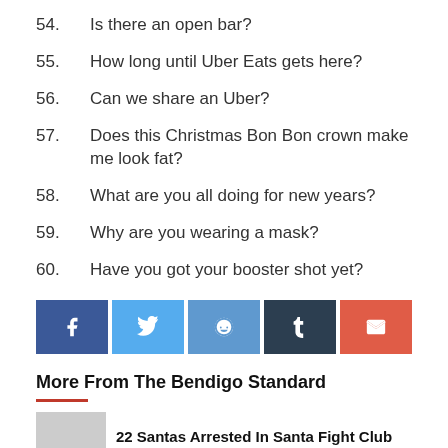54. Is there an open bar?
55. How long until Uber Eats gets here?
56. Can we share an Uber?
57. Does this Christmas Bon Bon crown make me look fat?
58. What are you all doing for new years?
59. Why are you wearing a mask?
60. Have you got your booster shot yet?
[Figure (infographic): Row of five social share buttons: Facebook (dark blue), Twitter (light blue), Reddit (medium blue), Tumblr (dark slate), Email (red)]
More From The Bendigo Standard
22 Santas Arrested In Santa Fight Club